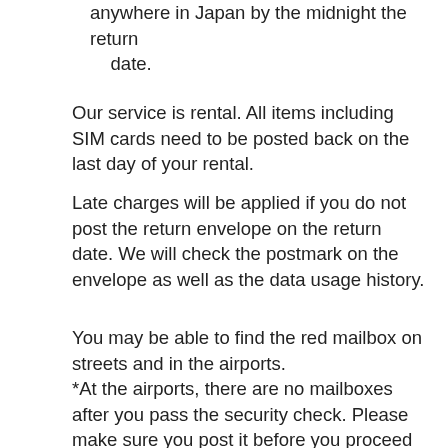anywhere in Japan by the midnight the return date.
Our service is rental. All items including SIM cards need to be posted back on the last day of your rental.
Late charges will be applied if you do not post the return envelope on the return date. We will check the postmark on the envelope as well as the data usage history.
You may be able to find the red mailbox on streets and in the airports.
*At the airports, there are no mailboxes after you pass the security check. Please make sure you post it before you proceed to the security check.
*In some terminals in the airports, there may be no mailbox. Please check the official website of the airport terminal you are going to use.
Please read the following pages carefully for the detail...